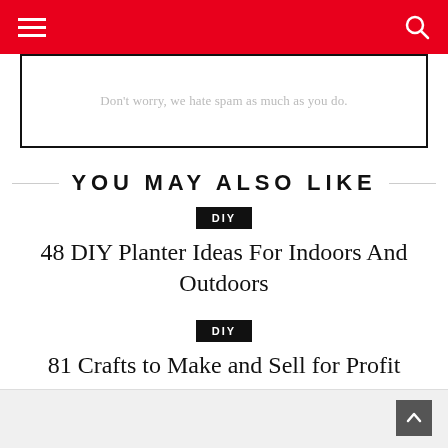Navigation bar with menu and search icons
Don't worry, we hate spam as much as you do.
YOU MAY ALSO LIKE
DIY
48 DIY Planter Ideas For Indoors And Outdoors
DIY
81 Crafts to Make and Sell for Profit